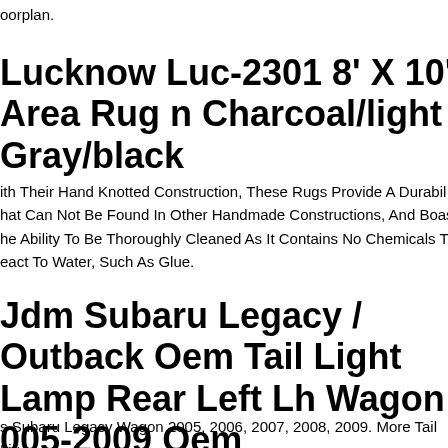oorplan.
Lucknow Luc-2301 8' X 10' Area Rug in Charcoal/light Gray/black
ith Their Hand Knotted Construction, These Rugs Provide A Durabil hat Can Not Be Found In Other Handmade Constructions, And Boast he Ability To Be Thoroughly Cleaned As It Contains No Chemicals Th eact To Water, Such As Glue.
Jdm Subaru Legacy / Outback Oem Tail Light Lamp Rear Left Lh Wagon 005-2009 Oem
s Subaru Legacy Wagon 2005, 2006, 2007, 2008, 2009. More Tail Lig hotos. Central Jdm. Work Hours. centralsubie. centraljdm. 100% Clea nd Working Conditions.